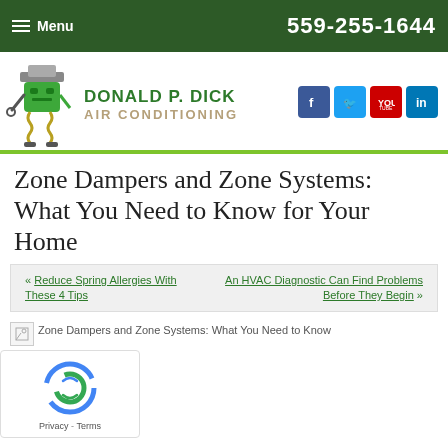Menu | 559-255-1644
[Figure (logo): Donald P. Dick Air Conditioning logo with green mascot character and social media icons (Facebook, Twitter, YouTube, LinkedIn)]
Zone Dampers and Zone Systems: What You Need to Know for Your Home
« Reduce Spring Allergies With These 4 Tips
An HVAC Diagnostic Can Find Problems Before They Begin »
[Figure (photo): Zone Dampers and Zone Systems: What You Need to Know — article image (broken/loading)]
[Figure (other): reCAPTCHA widget with Privacy and Terms links]